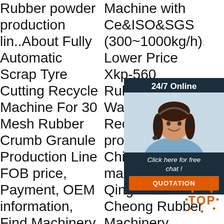Rubber powder production lin..About Fully Automatic Scrap Tyre Cutting Recycle Machine For 30 Mesh Rubber Crumb Granule Production Line FOB price, Payment, OEM information, Find Machinery products companies factories and
Machine with Ce&ISO&SGS (300~1000kg/h), Lower Price Xkp-560 Rubber Cracker Waste Tires Recycling Plant provided by China manufacturer - Qingdao Shun Cheong Rubber Machinery Manufacturing Co.,Jiangyin Bosj Science
Waste Tyre Recycling Machine. This Waste Tyre R... m... u... qu... co... u... g... skilled professionals and latest technology to ensure its
[Figure (infographic): Chat widget overlay with dark background, woman with headset photo, '24/7 Online' header, 'Click here for free chat!' text, and orange QUOTATION button]
[Figure (other): Orange TOP badge with dotted circle border in bottom right corner]